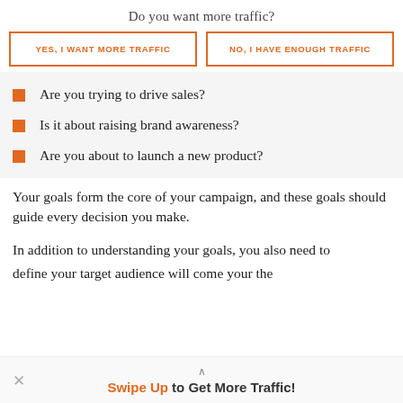Do you want more traffic?
YES, I WANT MORE TRAFFIC
NO, I HAVE ENOUGH TRAFFIC
Are you trying to drive sales?
Is it about raising brand awareness?
Are you about to launch a new product?
Your goals form the core of your campaign, and these goals should guide every decision you make.
In addition to understanding your goals, you also need to define your target audience will come your the
Swipe Up to Get More Traffic!